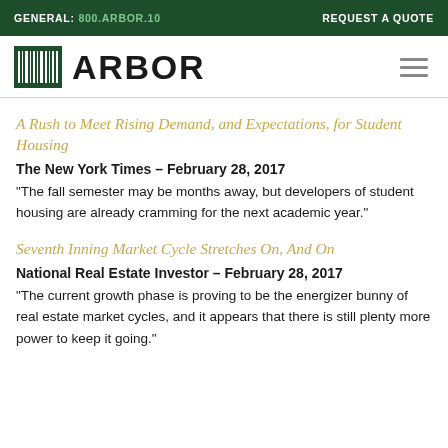GENERAL: 800.ARBOR.10   REQUEST A QUOTE
[Figure (logo): Arbor company logo with barcode-style icon and ARBOR wordmark]
A Rush to Meet Rising Demand, and Expectations, for Student Housing
The New York Times – February 28, 2017
“The fall semester may be months away, but developers of student housing are already cramming for the next academic year.”
Seventh Inning Market Cycle Stretches On, And On
National Real Estate Investor – February 28, 2017
“The current growth phase is proving to be the energizer bunny of real estate market cycles, and it appears that there is still plenty more power to keep it going.”